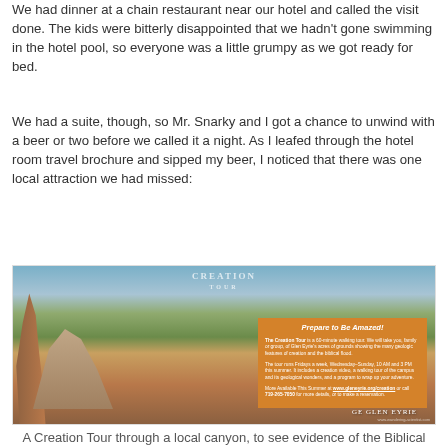We had dinner at a chain restaurant near our hotel and called the visit done. The kids were bitterly disappointed that we hadn't gone swimming in the hotel pool, so everyone was a little grumpy as we got ready for bed.
We had a suite, though, so Mr. Snarky and I got a chance to unwind with a beer or two before we called it a night. As I leafed through the hotel room travel brochure and sipped my beer, I noticed that there was one local attraction we had missed:
[Figure (photo): A photograph of a travel brochure for Glen Eyrie's Creation Tour, featuring red rock formations and mountains in the background, with an orange text box reading 'Prepare to Be Amazed!' describing the Creation Tour through Glen Eyrie's grounds.]
A Creation Tour through a local canyon, to see evidence of the Biblical